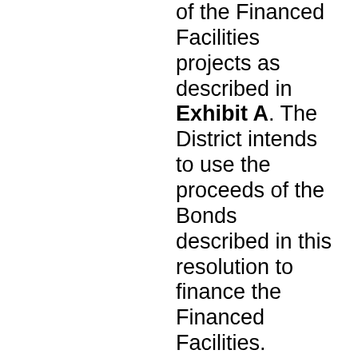of the Financed Facilities projects as described in Exhibit A. The District intends to use the proceeds of the Bonds described in this resolution to finance the Financed Facilities.